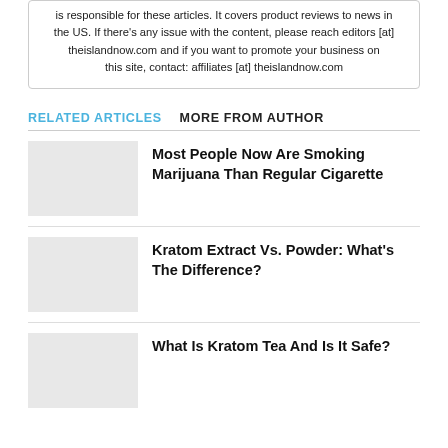is responsible for these articles. It covers product reviews to news in the US. If there's any issue with the content, please reach editors [at] theislandnow.com and if you want to promote your business on this site, contact: affiliates [at] theislandnow.com
RELATED ARTICLES   MORE FROM AUTHOR
Most People Now Are Smoking Marijuana Than Regular Cigarette
Kratom Extract Vs. Powder: What's The Difference?
What Is Kratom Tea And Is It Safe?